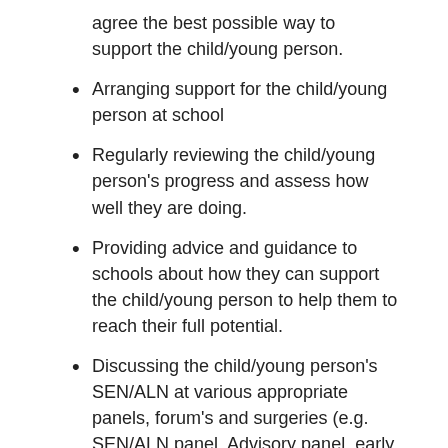agree the best possible way to support the child/young person.
Arranging support for the child/young person at school
Regularly reviewing the child/young person's progress and assess how well they are doing.
Providing advice and guidance to schools about how they can support the child/young person to help them to reach their full potential.
Discussing the child/young person's SEN/ALN at various appropriate panels, forum's and surgeries (e.g. SEN/ALN panel, Advisory panel, early year forum).